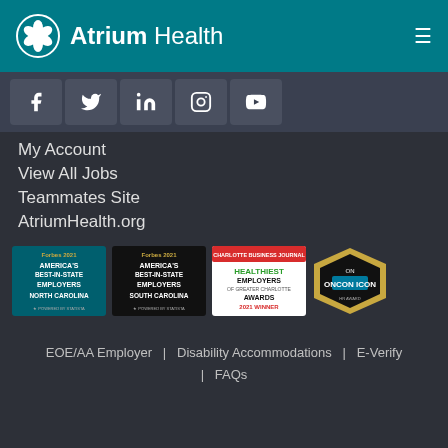Atrium Health
[Figure (logo): Social media icons: Facebook, Twitter, LinkedIn, Instagram, YouTube]
My Account
View All Jobs
Teammates Site
AtriumHealth.org
[Figure (illustration): Four award badges: Forbes 2021 America's Best-In-State Employers North Carolina, Forbes 2021 America's Best-In-State Employers South Carolina, Charlotte Business Journal Healthiest Employers of Greater Charlotte Awards 2021 Winner, OnCon Icon award]
EOE/AA Employer   |   Disability Accommodations   |   E-Verify   |   FAQs